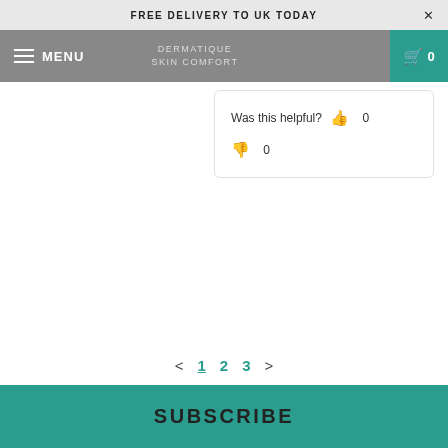FREE DELIVERY TO UK TODAY
MENU  DERMATIQUE SKIN COMFORT  0
Was this helpful? 👍 0 👎 0
< 1 2 3 >
SUBSCRIBE
Sign up to get the latest on sales, new releases and more ...
Enter your email address...
SIGN UP
Chat with us